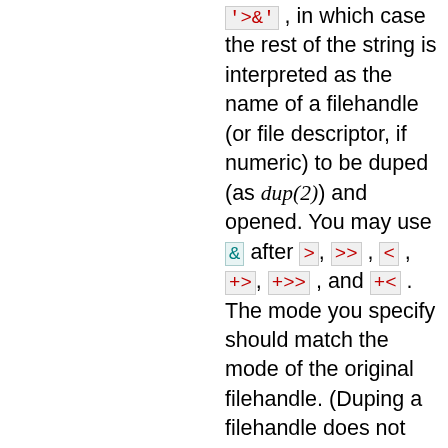'>>&' , in which case the rest of the string is interpreted as the name of a filehandle (or file descriptor, if numeric) to be duped (as dup(2)) and opened. You may use & after >, >>, <, +>, +>> , and +< . The mode you specify should match the mode of the original filehandle. (Duping a filehandle does not take into account any existing